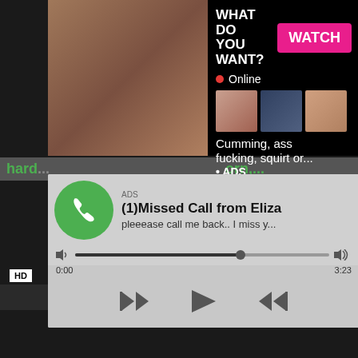[Figure (screenshot): Adult video website screenshot with overlaid popup advertisements including a chat/cam ad, a missed call audio ad, and a video thumbnail]
WHAT DO YOU WANT?
WATCH
Online
Cumming, ass fucking, squirt or...
• ADS
hard...
orn,...
ADS
(1)Missed Call from Eliza
pleeease call me back.. I miss y...
0:00
3:23
HD
7 min
Roxy Lovette Teen Hardcore Pov